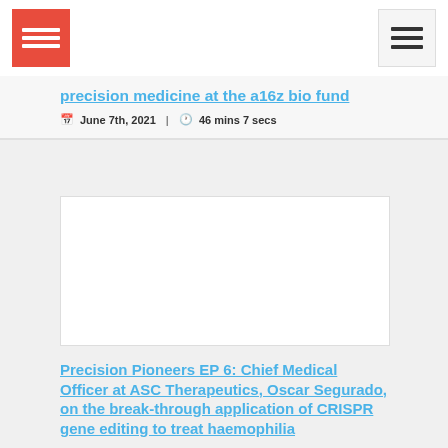Logo and navigation header
precision medicine at the a16z bio fund
June 7th, 2021 | 46 mins 7 secs
[Figure (photo): Blank white thumbnail image for podcast episode]
Precision Pioneers EP 6: Chief Medical Officer at ASC Therapeutics, Oscar Segurado, on the break-through application of CRISPR gene editing to treat haemophilia